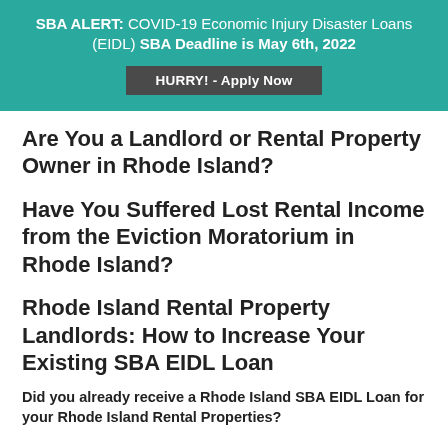SBA ALERT: COVID-19 Economic Injury Disaster Loans (EIDL) SBA Deadline is May 6th, 2022
HURRY! - Apply Now
Are You a Landlord or Rental Property Owner in Rhode Island?
Have You Suffered Lost Rental Income from the Eviction Moratorium in Rhode Island?
Rhode Island Rental Property Landlords: How to Increase Your Existing SBA EIDL Loan
Did you already receive a Rhode Island SBA EIDL Loan for your Rhode Island Rental Properties?